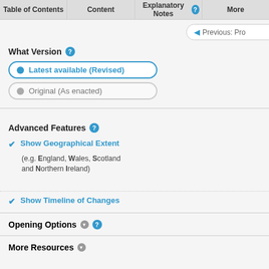Table of Contents | Content | Explanatory Notes | More
What Version
Latest available (Revised)
Original (As enacted)
Advanced Features
Show Geographical Extent
(e.g. England, Wales, Scotland and Northern Ireland)
Show Timeline of Changes
01/05/2004
Status: There are multiple prospective versi
Skip to: E+W+N.I. - England, Wales an
Opening Options
More Resources
Changes to legislation: Sexual Offences A September 2022. There are changes that ma and are referenced with annotations.